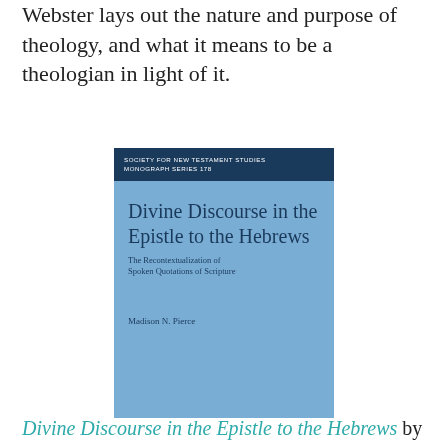Webster lays out the nature and purpose of theology, and what it means to be a theologian in light of it.
[Figure (illustration): Book cover of 'Divine Discourse in the Epistle to the Hebrews: The Recontextualization of Spoken Quotations of Scripture' by Madison N. Pierce, published in the Society for New Testament Studies Monograph Series 178. Light blue cover with dark navy title text and a dark navy banner at the top.]
Divine Discourse in the Epistle to the Hebrews by